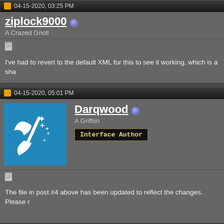04-15-2020, 03:25 PM
ziplock9000
A Crazed Gnoll
[Figure (other): Small document/notepad icon]
I've had to revert to the default XML for this to see it working, which is a sha
04-15-2020, 05:01 PM
[Figure (illustration): Blue square avatar with white axe/sparkle icon for user Darqwood]
Darqwood
A Griffon
Interface Author
[Figure (other): Small document/notepad icon]
The file in post #4 above has been updated to reflect the changes. Please r
04-16-2020, 10:03 AM